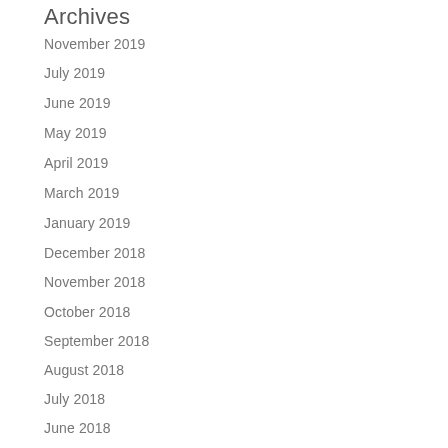Archives
November 2019
July 2019
June 2019
May 2019
April 2019
March 2019
January 2019
December 2018
November 2018
October 2018
September 2018
August 2018
July 2018
June 2018